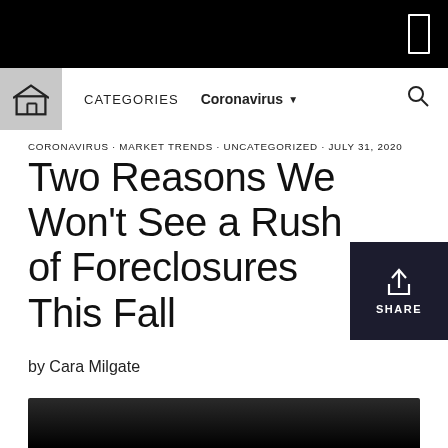CORONAVIRUS · MARKET TRENDS · UNCATEGORIZED · JULY 31, 2020
Two Reasons We Won't See a Rush of Foreclosures This Fall
by Cara Milgate
[Figure (screenshot): Dark image strip at bottom of page]